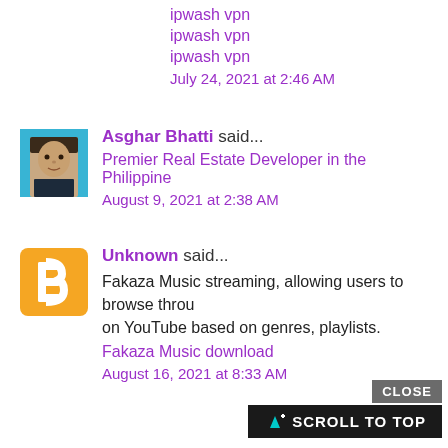ipwash vpn
ipwash vpn
ipwash vpn
July 24, 2021 at 2:46 AM
Asghar Bhatti said...
Premier Real Estate Developer in the Philippine
August 9, 2021 at 2:38 AM
Unknown said...
Fakaza Music streaming, allowing users to browse throu on YouTube based on genres, playlists.
Fakaza Music download
August 16, 2021 at 8:33 AM